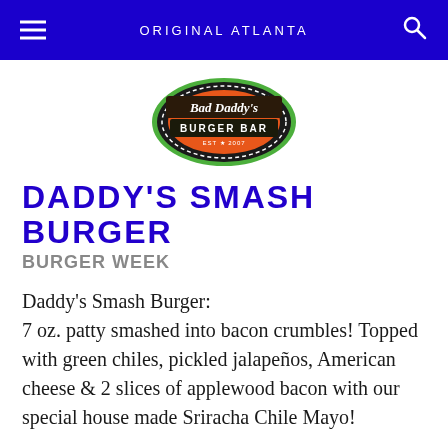ORIGINAL ATLANTA
[Figure (logo): Bad Daddy's Burger Bar logo — orange and black bottle cap design with green border]
DADDY'S SMASH BURGER
BURGER WEEK
Daddy's Smash Burger: 7 oz. patty smashed into bacon crumbles! Topped with green chiles, pickled jalapeños, American cheese & 2 slices of applewood bacon with our special house made Sriracha Chile Mayo!